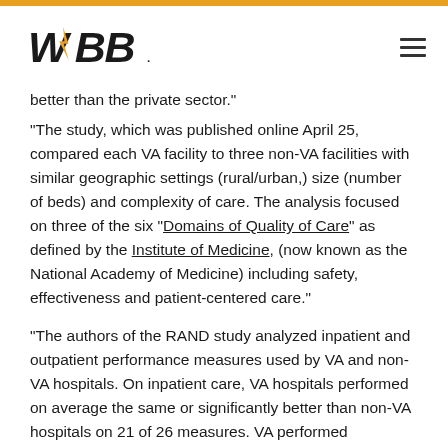WBB [logo] [hamburger menu]
better than the private sector."
“The study, which was published online April 25, compared each VA facility to three non-VA facilities with similar geographic settings (rural/urban,) size (number of beds) and complexity of care. The analysis focused on three of the six “Domains of Quality of Care” as defined by the Institute of Medicine, (now known as the National Academy of Medicine) including safety, effectiveness and patient-centered care.”
“The authors of the RAND study analyzed inpatient and outpatient performance measures used by VA and non-VA hospitals. On inpatient care, VA hospitals performed on average the same or significantly better than non-VA hospitals on 21 of 26 measures. VA performed significantly better than...